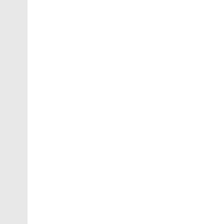volunteer accepting payment for registration fees should note upon an available portion of the player registration form:
The amount of the payment received
Whether such payment was made in cash